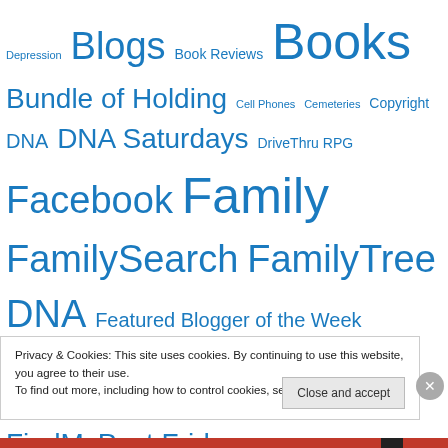Depression Blogs Book Reviews Books Bundle of Holding Cell Phones Cemeteries Copyright DNA DNA Saturdays DriveThru RPG Facebook Family FamilySearch FamilyTree DNA Featured Blogger of the Week Featured Vlogger of the Week Find-A-Grave FindMyPast FindMyPastDNA FindMyPast Fridays First Nations/Native American Food Forgiveness Sundays Gaming Gaming Sunday Humble Bundle
Privacy & Cookies: This site uses cookies. By continuing to use this website, you agree to their use. To find out more, including how to control cookies, see here: Cookie Policy
Close and accept